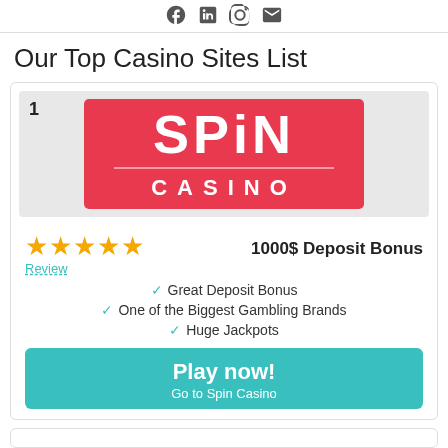[Figure (logo): Social media icons: Facebook, LinkedIn, Instagram, Email]
Our Top Casino Sites List
[Figure (logo): Spin Casino logo — pink/red background with white SPIN CASINO text]
[Figure (other): Five gold star rating]
Review
1000$ Deposit Bonus
Great Deposit Bonus
One of the Biggest Gambling Brands
Huge Jackpots
Play now! Go to Spin Casino